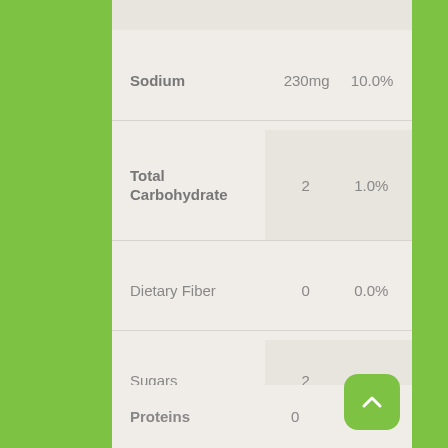| Nutrient | Amount | % Daily Value |
| --- | --- | --- |
| Sodium | 230mg | 10.0% |
| Total Carbohydrate | 2 | 1.0% |
| Dietary Fiber | 0 | 0.0% |
| Sugars | 2 | 0.0% |
| Proteins | 0 | 0.0% |